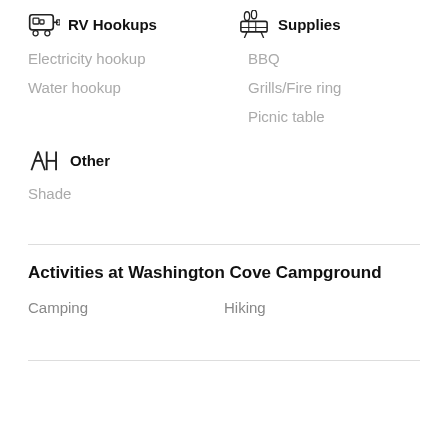RV Hookups
Supplies
Electricity hookup
BBQ
Water hookup
Grills/Fire ring
Picnic table
Other
Shade
Activities at Washington Cove Campground
Camping
Hiking